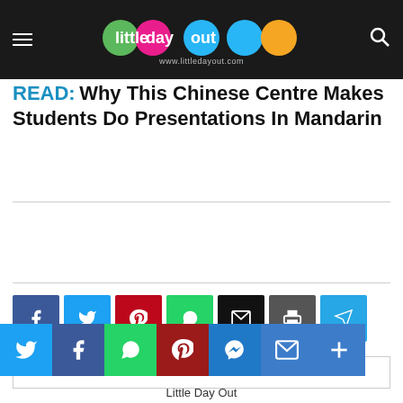Little Day Out — www.littledayout.com
READ: Why This Chinese Centre Makes Students Do Presentations In Mandarin
[Figure (infographic): Social sharing buttons row: Facebook (blue), Twitter (light blue), Pinterest (red), WhatsApp (green), Email (black), Print (gray), Telegram (blue)]
[Figure (infographic): Bottom social sharing bar: Twitter, Facebook, WhatsApp, Pinterest, Messenger, Email, More (plus icon)]
Little Day Out